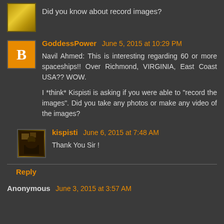Did you know about record images?
GoddessPower June 5, 2015 at 10:29 PM
Navil Ahmed: This is interesting regarding 60 or more spaceships!! Over Richmond, VIRGINIA, East Coast USA?? WOW.

I *think* Kispisti is asking if you were able to "record the images". Did you take any photos or make any video of the images?
kispisti June 6, 2015 at 7:48 AM
Thank You Sir !
Reply
Anonymous June 3, 2015 at 3:57 AM